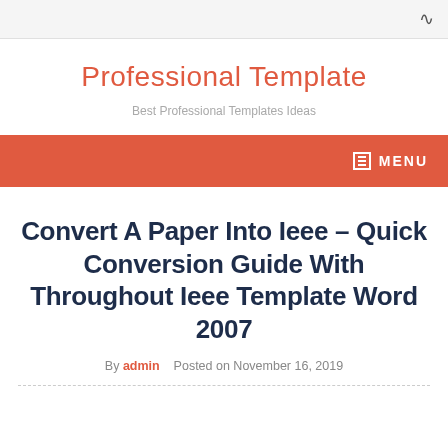Professional Template
Best Professional Templates Ideas
MENU
Convert A Paper Into Ieee – Quick Conversion Guide With Throughout Ieee Template Word 2007
By admin   Posted on November 16, 2019